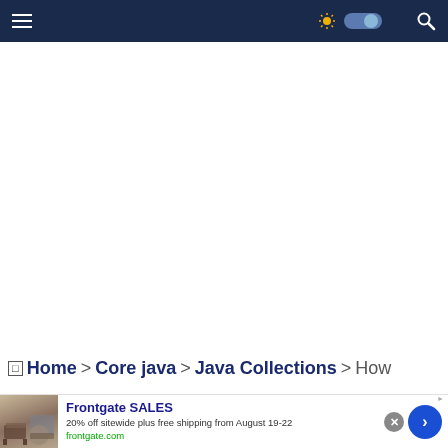Navigation bar with hamburger menu, light/dark toggle, and search icon
Home > Core java > Java Collections > How
[Figure (screenshot): Advertisement banner for Frontgate SALES: 20% off sitewide plus free shipping from August 19-22, frontgate.com, with outdoor furniture image]